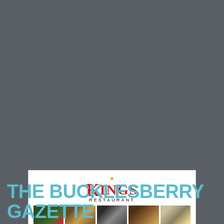[Figure (advertisement): Kings Restaurant advertisement with logo, food photos, welcome text, location info, and social media icons]
THE BUCKLESBERRY GAZETTE